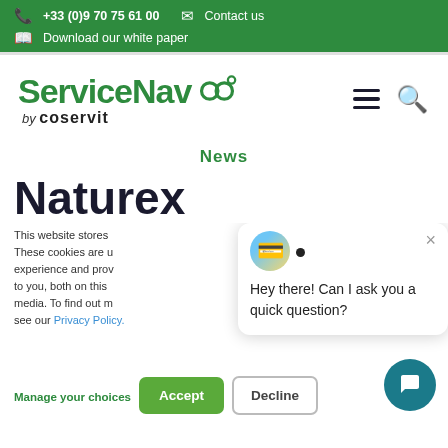+33 (0)9 70 75 61 00  Contact us  Download our white paper
[Figure (logo): ServiceNav by coservit logo with infinity/link icon in green]
News
Naturex
This website stores These cookies are u experience and prov to you, both on this media. To find out m see our Privacy Policy.
Hey there! Can I ask you a quick question?
Manage your choices
Accept
Decline